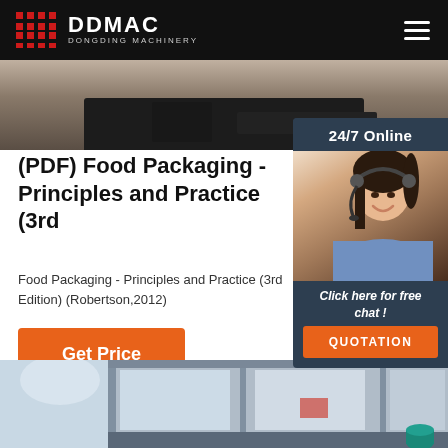DDMAC DONGDING MACHINERY
[Figure (photo): Machinery/industrial equipment photo strip at top]
[Figure (photo): Customer service representative with headset, 24/7 Online chat widget with QUOTATION button]
(PDF) Food Packaging - Principles and Practice (3rd
Food Packaging - Principles and Practice (3rd Edition) (Robertson,2012)
Get Price
[Figure (photo): Industrial warehouse/factory building interior photo at bottom]